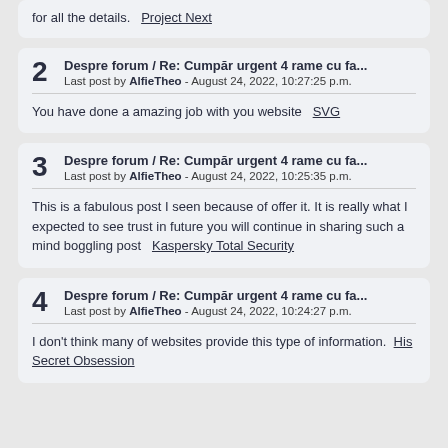for all the details.   Project Next
2  Despre forum / Re: Cumpār urgent 4 rame cu fa...
Last post by AlfieTheo - August 24, 2022, 10:27:25 p.m.

You have done a amazing job with you website   SVG
3  Despre forum / Re: Cumpār urgent 4 rame cu fa...
Last post by AlfieTheo - August 24, 2022, 10:25:35 p.m.

This is a fabulous post I seen because of offer it. It is really what I expected to see trust in future you will continue in sharing such a mind boggling post   Kaspersky Total Security
4  Despre forum / Re: Cumpār urgent 4 rame cu fa...
Last post by AlfieTheo - August 24, 2022, 10:24:27 p.m.

I don't think many of websites provide this type of information.   His Secret Obsession